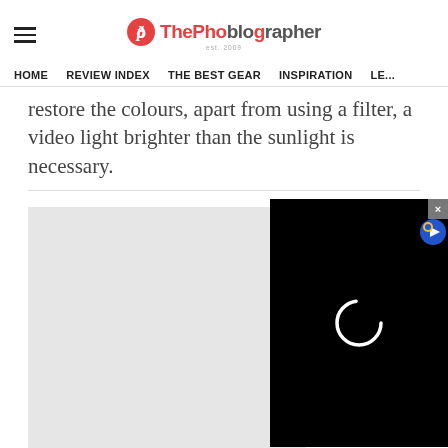ThePhoblographer - est. 2009
HOME  REVIEW INDEX  THE BEST GEAR  INSPIRATION  LE...
restore the colours, apart from using a filter, a video light brighter than the sunlight is necessary.
[Figure (screenshot): A video player overlay with black background showing a loading spinner (white ring/circle) and a video icon badge in the top right corner, with a close (X) button in the top right. Below/behind is a gray placeholder content area.]